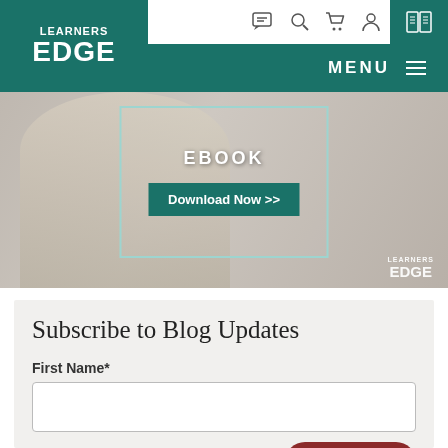[Figure (logo): Learners Edge logo — white text on teal/green background]
[Figure (screenshot): Navigation bar with chat, search, cart, account icons and a teal book icon area]
[Figure (screenshot): Teal MENU bar with hamburger lines on the right]
[Figure (photo): Banner image showing a person with hands near face, overlaid with teal-bordered box containing 'EBOOK' text and 'Download Now >>' button, Learners Edge logo watermark bottom right]
Subscribe to Blog Updates
First Name*
Last Name*
Leave A Message